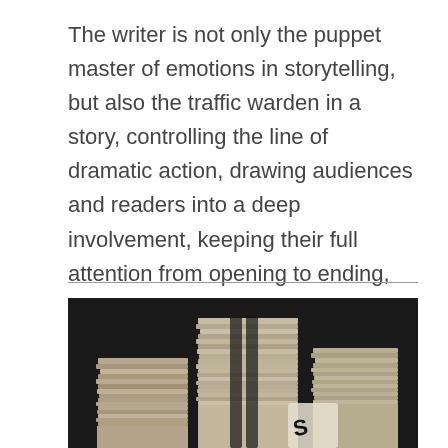The writer is not only the puppet master of emotions in storytelling, but also the traffic warden in a story, controlling the line of dramatic action, drawing audiences and readers into a deep involvement, keeping their full attention from opening to ending, and rewarding them with a meaningful and memorable experience. Read more
[Figure (photo): Stacks of papers/manuscripts on a dark background, partially visible at the bottom of the page]